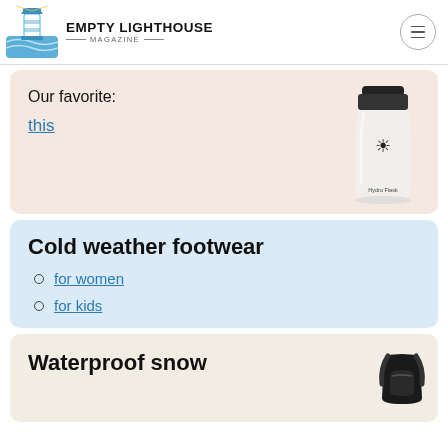EMPTY LIGHTHOUSE MAGAZINE
Our favorite:
this
[Figure (photo): White Hydro Flask water bottle with black cap and sun/hand logo]
Cold weather footwear
for women
for kids
Waterproof snow